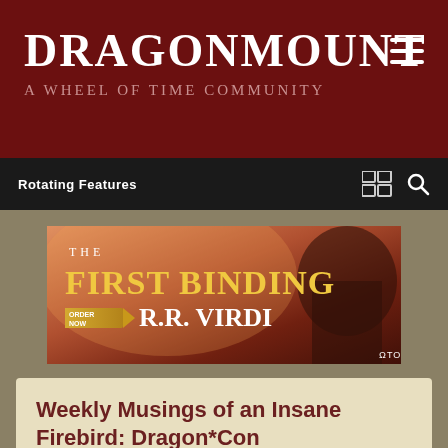DRAGONMOUNT
A WHEEL OF TIME COMMUNITY
Rotating Features
[Figure (illustration): Advertisement banner for 'The First Binding' by R.R. Virdi, published by Tor. Gold text title on fiery orange-red background with dark silhouetted figure on right side. Includes 'Order Now' button.]
Weekly Musings of an Insane Firebird: Dragon*Con